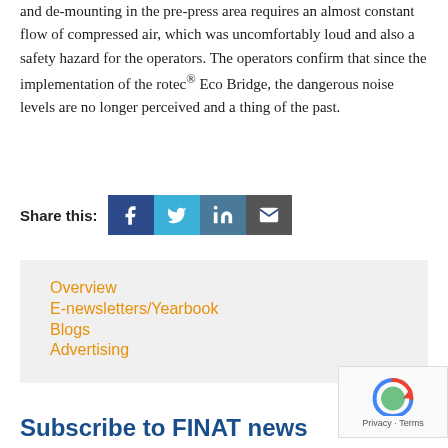and de-mounting in the pre-press area requires an almost constant flow of compressed air, which was uncomfortably loud and also a safety hazard for the operators. The operators confirm that since the implementation of the rotec® Eco Bridge, the dangerous noise levels are no longer perceived and a thing of the past.
[Figure (infographic): Share this: social media icons for Facebook, Twitter, LinkedIn, and Email]
Overview
E-newsletters/Yearbook
Blogs
Advertising
[Figure (logo): reCAPTCHA widget with Privacy · Terms text]
Subscribe to FINAT news